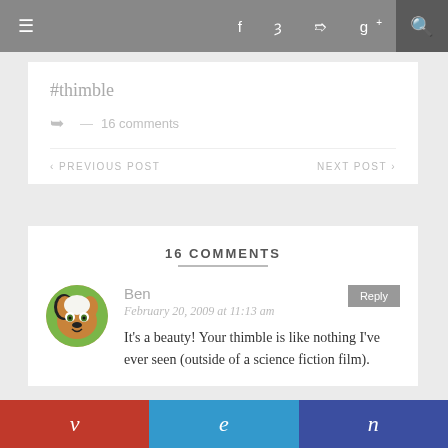≡  f  t  p  g+  🔍
#thimble
↪ — 16 comments
‹ PREVIOUS POST    NEXT POST ›
16 COMMENTS
Ben
February 20, 2009 at 11:13 am
It's a beauty! Your thimble is like nothing I've ever seen (outside of a science fiction film).
v  e  n